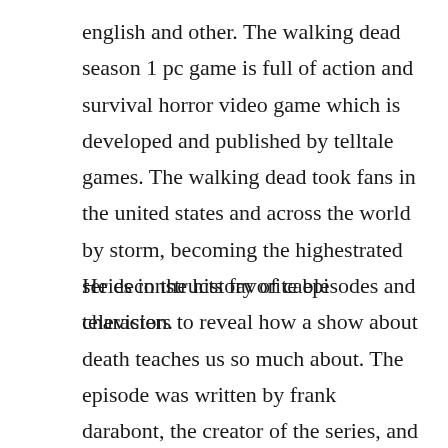english and other. The walking dead season 1 pc game is full of action and survival horror video game which is developed and published by telltale games. The walking dead took fans in the united states and across the world by storm, becoming the highestrated series in the history of cable television.
He deconstructs favorite episodes and characters to reveal how a show about death teaches us so much about. The episode was written by frank darabont, the creator of the series, and directed by michelle maclaren. In